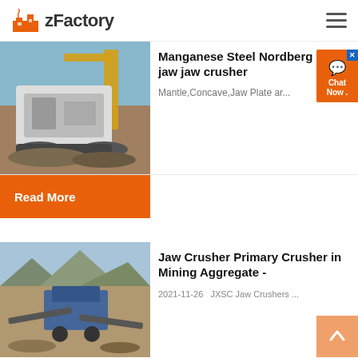zFactory
[Figure (photo): Mobile jaw crusher machine on a construction/mining site outdoors]
Manganese Steel Nordberg C105 jaw jaw crusher
Mantle,Concave,Jaw Plate ar...
Read More
[Figure (photo): Jaw crusher / aggregate machine working at a mining quarry site]
Jaw Crusher Primary Crusher in Mining Aggregate -
2021-11-26   JXSC Jaw Crushers ...